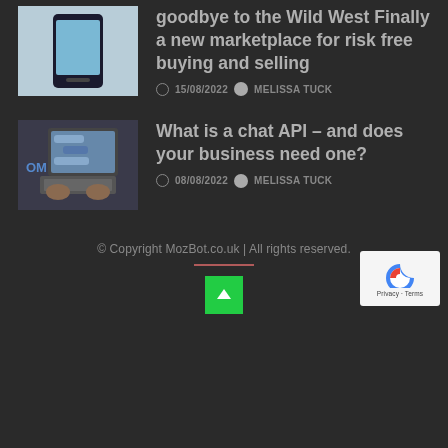[Figure (photo): Smartphone image thumbnail for first article]
goodbye to the Wild West Finally a new marketplace for risk free buying and selling
15/08/2022  MELISSA TUCK
[Figure (photo): Person typing on laptop keyboard, chat messaging visible on screen]
What is a chat API – and does your business need one?
08/08/2022  MELISSA TUCK
© Copyright MozBot.co.uk | All rights reserved.